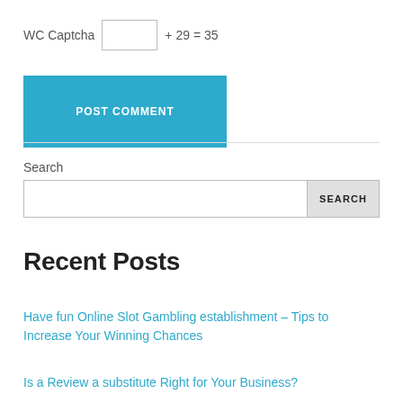WC Captcha [input] + 29 = 35
POST COMMENT
Search
SEARCH
Recent Posts
Have fun Online Slot Gambling establishment – Tips to Increase Your Winning Chances
Is a Review a substitute Right for Your Business?